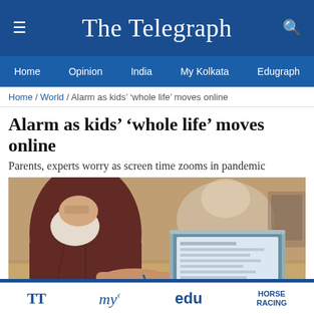The Telegraph
Home | Opinion | India | My Kolkata | Edugraph
Home / World / Alarm as kids’ ‘whole life’ moves online
Alarm as kids’ ‘whole life’ moves online
Parents, experts worry as screen time zooms in pandemic
[Figure (photo): A child wearing a mask and dark hoodie sits at a table looking at an open laptop, writing with a pen. Another person visible in the background.]
TT | my | edu | HORSE RACING